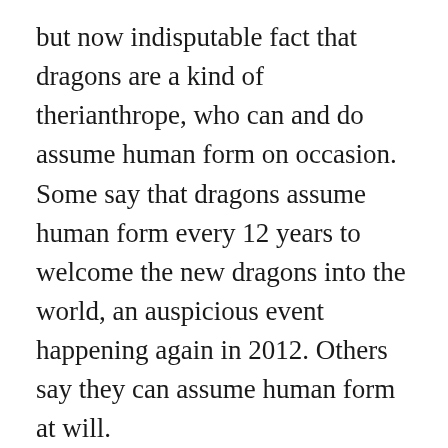but now indisputable fact that dragons are a kind of therianthrope, who can and do assume human form on occasion. Some say that dragons assume human form every 12 years to welcome the new dragons into the world, an auspicious event happening again in 2012. Others say they can assume human form at will.
In any case and every form however, dragons have some common characteristics that you may be able to exploit.
Take draconian measures of your own to